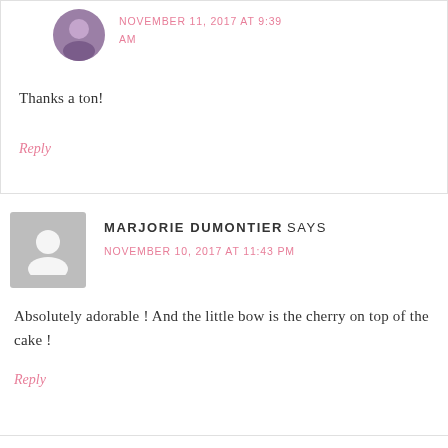[Figure (photo): Small circular avatar photo of a woman in a dark floral top]
NOVEMBER 11, 2017 AT 9:39 AM
Thanks a ton!
Reply
[Figure (illustration): Grey silhouette avatar placeholder icon for Marjorie Dumontier]
MARJORIE DUMONTIER SAYS
NOVEMBER 10, 2017 AT 11:43 PM
Absolutely adorable ! And the little bow is the cherry on top of the cake !
Reply